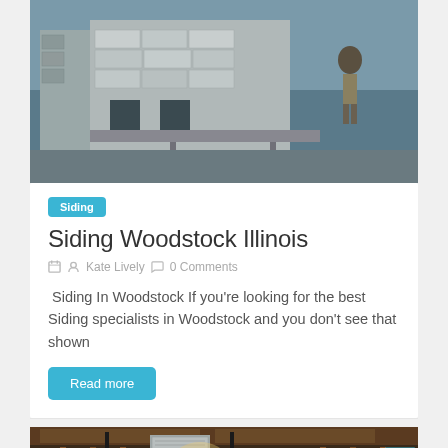[Figure (photo): Construction worker on top of a building with concrete blocks and scaffolding]
Siding
Siding Woodstock Illinois
Kate Lively   0 Comments
Siding In Woodstock If you're looking for the best Siding specialists in Woodstock and you don't see that shown
Read more
[Figure (photo): Basement interior with wooden framing, metal ductwork, and windows]